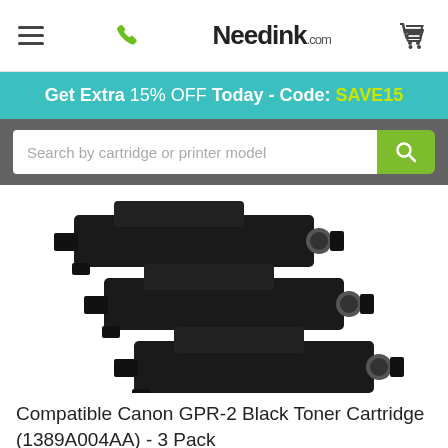Needink.com
Get Extra 15% OFF Today - Code: SAVE15
[Figure (screenshot): Search bar with placeholder text: Search by cartridge or printer model, and a green search button with magnifying glass icon]
[Figure (photo): Three black Canon GPR-2 toner cartridges stacked diagonally]
Compatible Canon GPR-2 Black Toner Cartridge (1389A004AA) - 3 Pack